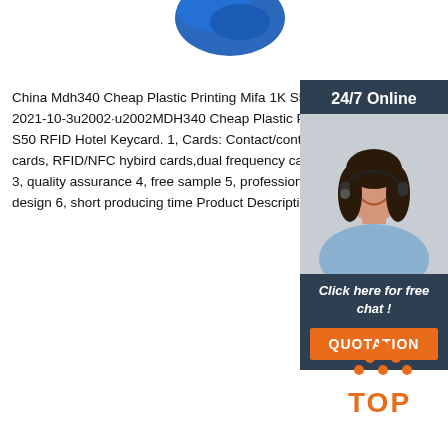[Figure (photo): Partial view of a blue plastic RFID card/keycard at the top of the page]
China Mdh340 Cheap Plastic Printing Mifa 1K S50 R... 2021-10-3u2002·u2002MDH340 Cheap Plastic Prin... S50 RFID Hotel Keycard. 1, Cards: Contact/contact cards, RFID/NFC hybird cards,dual frequency cards 3, quality assurance 4, free sample 5, professional d... design 6, short producing time Product Description
[Figure (photo): Sidebar with 24/7 Online support agent (woman with headset), click here for free chat, and QUOTATION button]
[Figure (logo): TOP logo with orange dots arranged in a triangle above the word TOP in orange]
Get Price